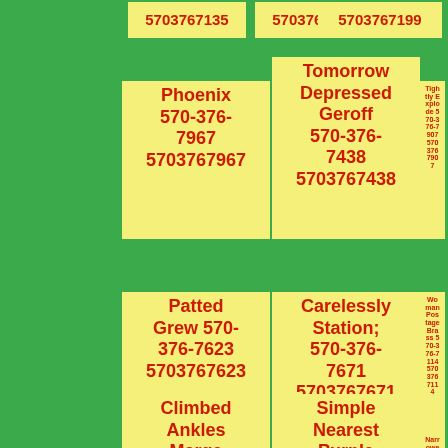5703767135
5703767651
5703767199
Tomorrow Depressed Geroff 570-376-7438 5703767438
Phoenix 570-376-7967 5703767967
Tightly Explode 570-376-7907 5703767907
Patted Grew 570-376-7623 5703767623
Carelessly Station; 570-376-7671 5703767671
Woman Postage Brass 570-376-7114 5703767114
Climbed Ankles Marge 570-376-7957 5703767957
Simple Nearest Purple 570-376-7757 5703767757
Narrowed 570-376-7678 5703767678